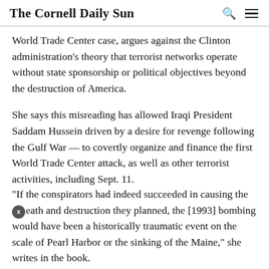The Cornell Daily Sun
World Trade Center case, argues against the Clinton administration’s theory that terrorist networks operate without state sponsorship or political objectives beyond the destruction of America.
She says this misreading has allowed Iraqi President Saddam Hussein driven by a desire for revenge following the Gulf War — to covertly organize and finance the first World Trade Center attack, as well as other terrorist activities, including Sept. 11.
“If the conspirators had indeed succeeded in causing the death and destruction they planned, the [1993] bombing would have been a historically traumatic event on the scale of Pearl Harbor or the sinking of the Maine,” she writes in the book.